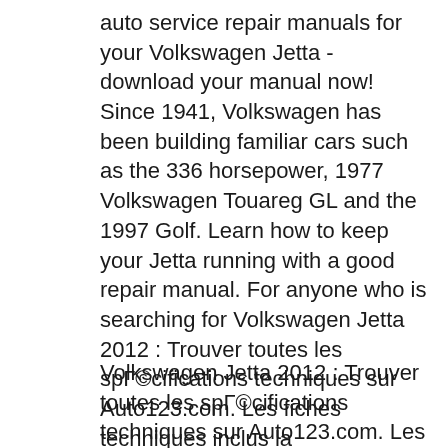auto service repair manuals for your Volkswagen Jetta - download your manual now! Since 1941, Volkswagen has been building familiar cars such as the 336 horsepower, 1977 Volkswagen Touareg GL and the 1997 Golf. Learn how to keep your Jetta running with a good repair manual. For anyone who is searching for Volkswagen Jetta 2012 : Trouver toutes les spГ©cifications techniques sur Auto123.com. Les fiches techniques inclus la consommation d'essence, les performances, la garantie, les accessoires et
Volkswagen Jetta 2012 : Trouver toutes les spГ©cifications techniques sur Auto123.com. Les fiches techniques